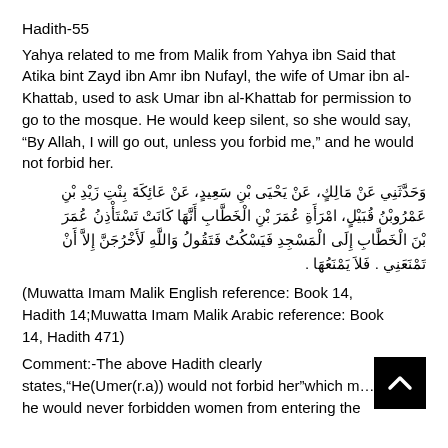Hadith-55
Yahya related to me from Malik from Yahya ibn Said that Atika bint Zayd ibn Amr ibn Nufayl, the wife of Umar ibn al-Khattab, used to ask Umar ibn al-Khattab for permission to go to the mosque. He would keep silent, so she would say, “By Allah, I will go out, unless you forbid me,” and he would not forbid her.
وَحَدَّثَنِي عَنْ مَالِكِ، عَنْ يَحْيَى بْنِ سَعِيدِ، عَنْ عَائِشَةَ بِنْتِ زَيدِ بْنِ عَمْروْبْنُ قُبَيْلِ، امْرَأَةَ عُمَرَ بْنِ الخَطَّابِ أَنَّهَا كَانَتْ تَسْتَأْذِنُ عُمَرَ بْنَ الخَطَّابِ إِلَى الْمَسْجِدِ فَيَسْكُتُ فَتَقُولُ وَاللّـهِ لَأَخْرُجَنَّ إِلاَّ أَنْ تَمْنَعَنِي · فَلَا يَمْنَعُهَا ·
(Muwatta Imam Malik English reference: Book 14, Hadith 14;Muwatta Imam Malik Arabic reference: Book 14, Hadith 471)
Comment:-The above Hadith clearly states,“He(Umer(r.a)) would not forbid her”which means he would never forbidden women from entering the